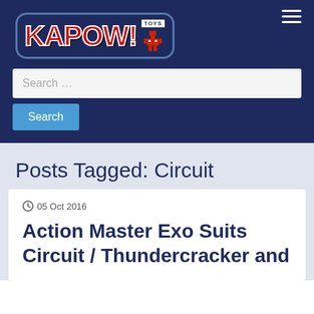[Figure (logo): Kapow! Toys logo with red bold text on dark navy background, with a small robot icon]
Search …
Search
Posts Tagged: Circuit
05 Oct 2016
Action Master Exo Suits Circuit / Thundercracker and